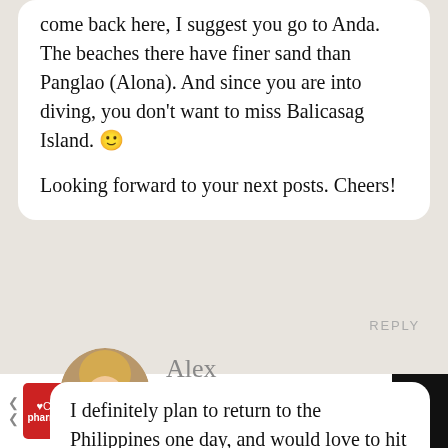come back here, I suggest you go to Anda. The beaches there have finer sand than Panglao (Alona). And since you are into diving, you don't want to miss Balicasag Island. 🙂
Looking forward to your next posts. Cheers!
REPLY
[Figure (photo): Circular avatar photo of a blonde woman named Alex, smiling]
Alex
August 30 2015
I definitely plan to return to the Philippines one day, and would love to hit up
[Figure (other): CVS Pharmacy advertisement bar at bottom of screen. CVS High Quality Photo Gifts - CVS Photo. Shows CVS logo, navigation arrow icon, and close X button.]